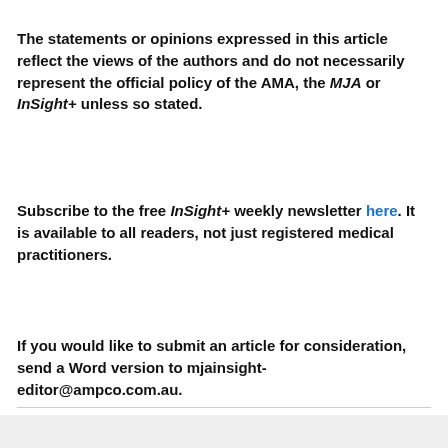The statements or opinions expressed in this article reflect the views of the authors and do not necessarily represent the official policy of the AMA, the MJA or InSight+ unless so stated.
Subscribe to the free InSight+ weekly newsletter here. It is available to all readers, not just registered medical practitioners.
If you would like to submit an article for consideration, send a Word version to mjainsight-editor@ampco.com.au.